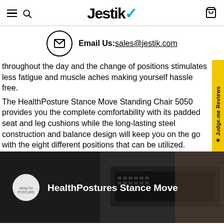Jestik - navigation header with hamburger menu, search icon, logo, and cart icon
Email Us: sales@jestik.com
throughout the day and the change of positions stimulates less fatigue and muscle aches making yourself hassle free.
The HealthPosture Stance Move Standing Chair 5050 provides you the complete comfortability with its padded seat and leg cushions while the long-lasting steel construction and balance design will keep you on the go with the eight different positions that can be utilized.
[Figure (screenshot): Video thumbnail showing HealthPostures Stance Move product video with dark background showing a keyboard/desk scene, white circular logo on left, and white title text]
HealthPostures Stance Move